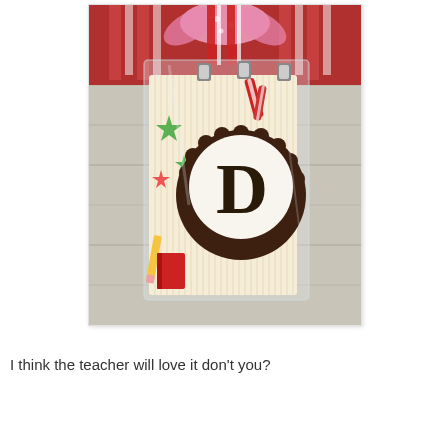[Figure (photo): A gift bag decorated with school-themed paper featuring colorful stars, pencils, and candy cane stripes, wrapped in clear cellophane and tied with a pink polka-dot ribbon and red striped ribbon at the top. A circular monogram tag with the letter 'D' in brown/dark ink is attached to the front. The bag rests on a weathered gray wood surface with red striped fabric visible in the background.]
I think the teacher will love it don't you?